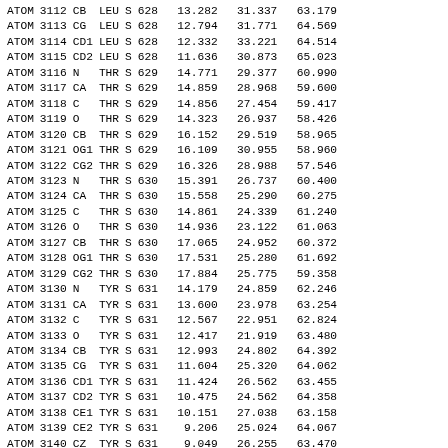| type | serial | name | res | chain | resseq | x | y | z |
| --- | --- | --- | --- | --- | --- | --- | --- | --- |
| ATOM | 3112 | CB | LEU | S | 628 | 13.282 | 31.337 | 63.179 |
| ATOM | 3113 | CG | LEU | S | 628 | 12.794 | 31.771 | 64.569 |
| ATOM | 3114 | CD1 | LEU | S | 628 | 12.332 | 33.221 | 64.514 |
| ATOM | 3115 | CD2 | LEU | S | 628 | 11.636 | 30.873 | 65.023 |
| ATOM | 3116 | N | THR | S | 629 | 14.771 | 29.377 | 60.990 |
| ATOM | 3117 | CA | THR | S | 629 | 14.859 | 28.968 | 59.600 |
| ATOM | 3118 | C | THR | S | 629 | 14.856 | 27.454 | 59.417 |
| ATOM | 3119 | O | THR | S | 629 | 14.323 | 26.937 | 58.426 |
| ATOM | 3120 | CB | THR | S | 629 | 16.152 | 29.519 | 58.965 |
| ATOM | 3121 | OG1 | THR | S | 629 | 16.109 | 30.955 | 58.960 |
| ATOM | 3122 | CG2 | THR | S | 629 | 16.326 | 28.988 | 57.546 |
| ATOM | 3123 | N | THR | S | 630 | 15.391 | 26.737 | 60.400 |
| ATOM | 3124 | CA | THR | S | 630 | 15.558 | 25.290 | 60.275 |
| ATOM | 3125 | C | THR | S | 630 | 14.861 | 24.339 | 61.240 |
| ATOM | 3126 | O | THR | S | 630 | 14.936 | 23.122 | 61.063 |
| ATOM | 3127 | CB | THR | S | 630 | 17.065 | 24.952 | 60.372 |
| ATOM | 3128 | OG1 | THR | S | 630 | 17.531 | 25.280 | 61.692 |
| ATOM | 3129 | CG2 | THR | S | 630 | 17.884 | 25.775 | 59.358 |
| ATOM | 3130 | N | TYR | S | 631 | 14.179 | 24.859 | 62.246 |
| ATOM | 3131 | CA | TYR | S | 631 | 13.600 | 23.978 | 63.254 |
| ATOM | 3132 | C | TYR | S | 631 | 12.567 | 22.951 | 62.824 |
| ATOM | 3133 | O | TYR | S | 631 | 12.417 | 21.919 | 63.480 |
| ATOM | 3134 | CB | TYR | S | 631 | 12.993 | 24.802 | 64.392 |
| ATOM | 3135 | CG | TYR | S | 631 | 11.604 | 25.320 | 64.062 |
| ATOM | 3136 | CD1 | TYR | S | 631 | 11.424 | 26.562 | 63.455 |
| ATOM | 3137 | CD2 | TYR | S | 631 | 10.475 | 24.562 | 64.358 |
| ATOM | 3138 | CE1 | TYR | S | 631 | 10.151 | 27.038 | 63.158 |
| ATOM | 3139 | CE2 | TYR | S | 631 | 9.206 | 25.024 | 64.067 |
| ATOM | 3140 | CZ | TYR | S | 631 | 9.049 | 26.255 | 63.470 |
| ATOM | 3141 | OH | TYR | S | 631 | 7.791 | 26.705 | 63.176 |